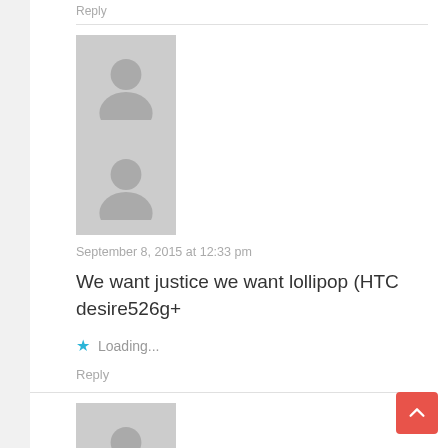Reply
[Figure (illustration): Two stacked gray avatar placeholder images with person silhouette]
September 8, 2015 at 12:33 pm
We want justice we want lollipop (HTC desire526g+
Loading...
Reply
[Figure (illustration): Two stacked gray avatar placeholder images with person silhouette (partially visible at bottom)]